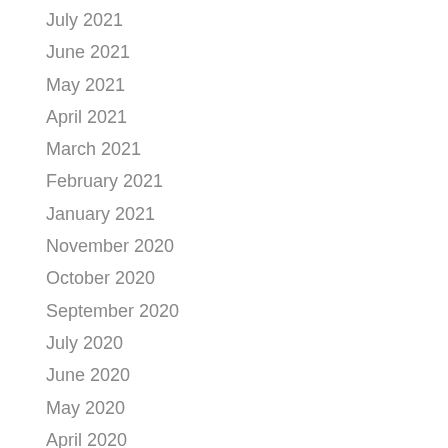July 2021
June 2021
May 2021
April 2021
March 2021
February 2021
January 2021
November 2020
October 2020
September 2020
July 2020
June 2020
May 2020
April 2020
March 2020